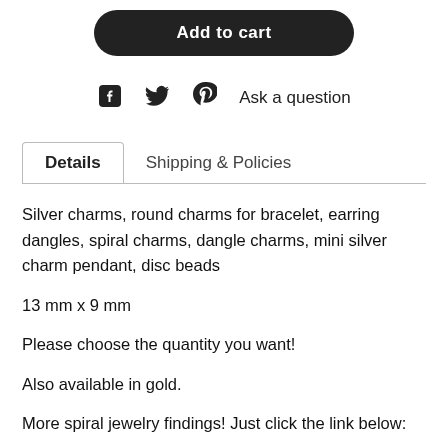[Figure (other): Add to cart button (black rounded rectangle)]
Ask a question
Details    Shipping & Policies
Silver charms, round charms for bracelet, earring dangles, spiral charms, dangle charms, mini silver charm pendant, disc beads
13 mm x 9 mm
Please choose the quantity you want!
Also available in gold.
More spiral jewelry findings! Just click the link below: